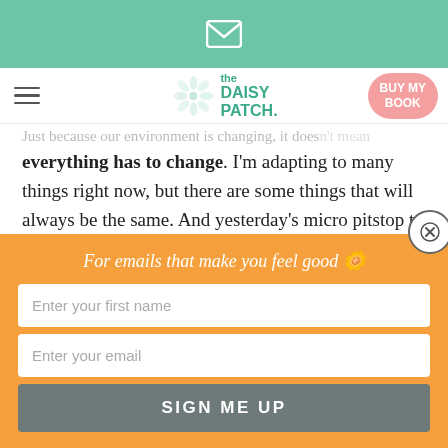[Figure (logo): Top teal bar with envelope/mail icon]
The Daisy Patch - navigation bar with hamburger menu, logo, and BUY MY BOOK button
I can pass on some of that comfort. That brings me...
Just because our environment is changing, it doesn't mean everything has to change. I'm adapting to many things right now, but there are some things that will always be the same. And yesterday's micro pitstop to help a stranger reminded me of that truth.
I will always smile at strangers and offer my help. I will always find joy in the micro moments of life (something this week's
For emails that make you feel good 🌼
Enter your first name
Enter your email
SIGN ME UP